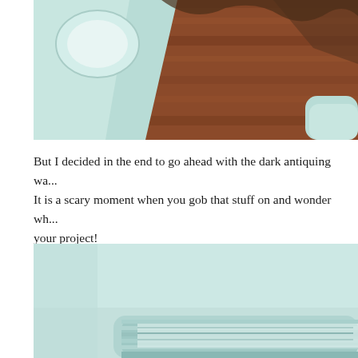[Figure (photo): Photo of a light mint/pale green painted furniture piece (likely a dresser or table) viewed from above, showing the wooden floor surface underneath in a warm reddish-brown wood tone. A circular cutout or hole is visible in the mint-colored painted surface.]
But I decided in the end to go ahead with the dark antiquing wa... It is a scary moment when you gob that stuff on and wonder wh... your project!
[Figure (photo): Close-up photo of the edge/corner of a mint/pale green painted furniture piece, showing layered or ribbed detail at the bottom edge, with the light blue-green painted surface prominently visible.]